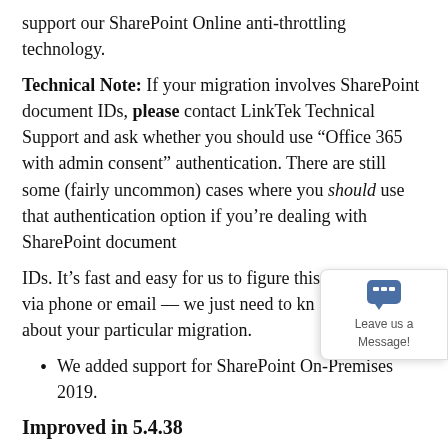support our SharePoint Online anti-throttling technology.
Technical Note: If your migration involves SharePoint document IDs, please contact LinkTek Technical Support and ask whether you should use “Office 365 with admin consent” authentication. There are still some (fairly uncommon) cases where you should use that authentication option if you’re dealing with SharePoint document
IDs. It’s fast and easy for us to figure this out with you via phone or email — we just need to know a little bit about your particular migration.
We added support for SharePoint On-Premises 2019.
Improved in 5.4.38
Auto-calculations: Major overhaul of the...